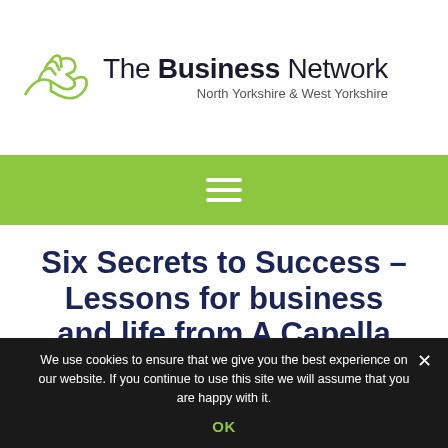[Figure (logo): The Business Network logo with two interlocking hands icon and text 'The Business Network North Yorkshire & West Yorkshire']
[Figure (other): Green navigation bar with white hamburger menu icon (three horizontal lines)]
Six Secrets to Success – Lessons for business and life from A Capella
We use cookies to ensure that we give you the best experience on our website. If you continue to use this site we will assume that you are happy with it.